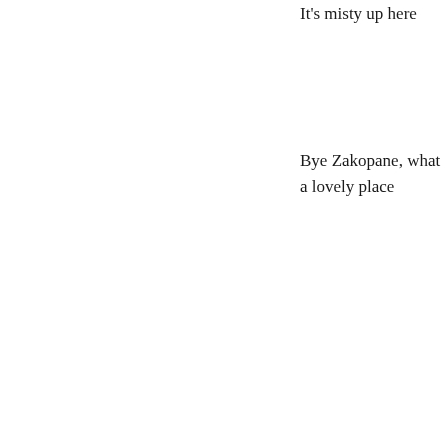It's misty up here
Bye Zakopane, what a lovely place